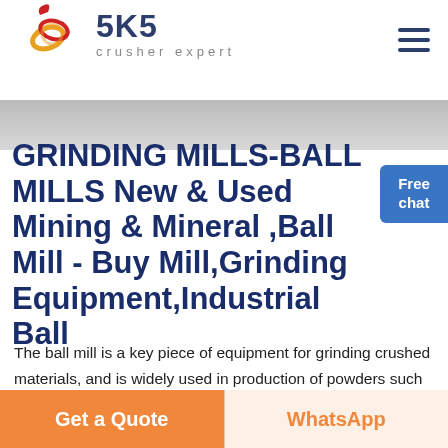[Figure (logo): SKS crusher expert logo with red/orange swirl icon and dark blue SKS text]
GRINDING MILLS-BALL MILLS New & Used Mining & Mineral ,Ball Mill - Buy Mill,Grinding Equipment,Industrial Ball
The ball mill is a key piece of equipment for grinding crushed materials, and is widely used in production of powders such as cement, silicates, refractory material, and glass ceramics, as well as for ore dressing of both ferrous and non-ferrous metalsBall Mill ,